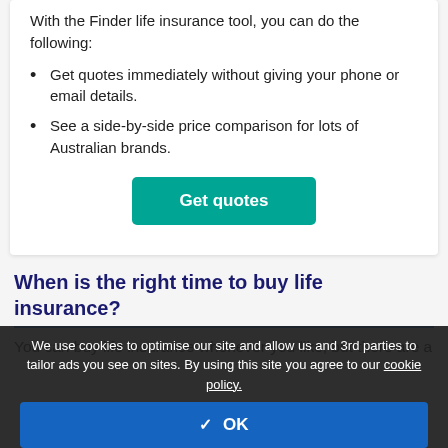With the Finder life insurance tool, you can do the following:
Get quotes immediately without giving your phone or email details.
See a side-by-side price comparison for lots of Australian brands.
[Figure (other): Green 'Get quotes' button]
When is the right time to buy life insurance?
You can buy life insurance whenever you like, but there are a
We use cookies to optimise our site and allow us and 3rd parties to tailor ads you see on sites. By using this site you agree to our cookie policy.
✓  OK